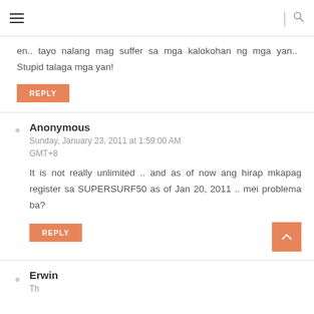en.. tayo nalang mag suffer sa mga kalokohan ng mga yan.. Stupid talaga mga yan!
REPLY
Anonymous
Sunday, January 23, 2011 at 1:59:00 AM GMT+8
It is not really unlimited .. and as of now ang hirap mkapag register sa SUPERSURF50 as of Jan 20, 2011 .. mei problema ba?
REPLY
Erwin